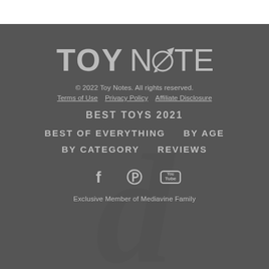[Figure (logo): Toy Notes logo in grey text with a rocket/pencil icon replacing the 'O' in NOTES]
© 2022 Toy Notes. All rights reserved.
Terms of Use   Privacy Policy   Affiliate Disclosure
BEST TOYS 2021
BEST OF EVERYTHING
BY AGE
BY CATEGORY
REVIEWS
[Figure (other): Social media icons: Facebook, Pinterest, YouTube]
Exclusive Member of Mediavine Family